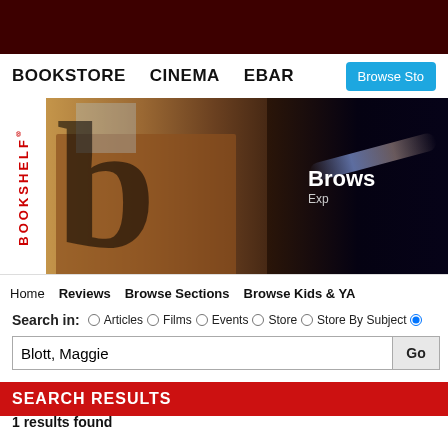BOOKSHELF (top bar dark red)
BOOKSTORE   CINEMA   EBAR
[Figure (photo): Bookshelf banner with large 'b' logo overlaid on a bookstore exterior photo, text 'Brows' and 'Exp' partially visible on right side]
Home   Reviews   Browse Sections   Browse Kids & YA
Search in: Articles Films Events Store Store By Subject [selected]
Blott, Maggie  [Go]
SEARCH RESULTS
1 results found